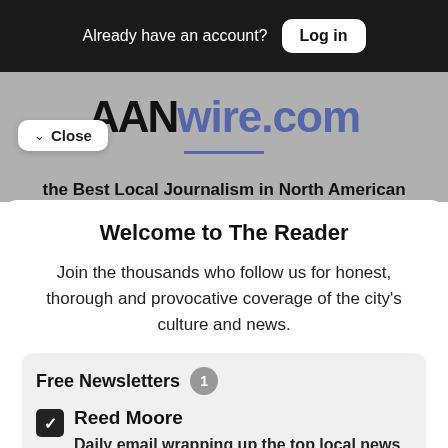Already have an account? Log in
[Figure (logo): AANwire.com logo in black and blue/purple text on gray background]
✓ Close
the Best Local Journalism in North American
Welcome to The Reader
Join the thousands who follow us for honest, thorough and provocative coverage of the city's culture and news.
Free Newsletters 1
Reed Moore
Daily email wrapping up the top local news and events — linking to where you can read more, from Reed Moore, that clever linker